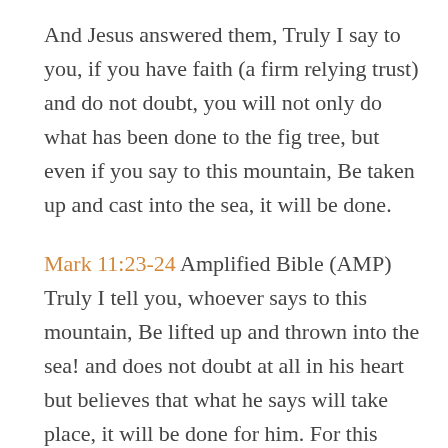And Jesus answered them, Truly I say to you, if you have faith (a firm relying trust) and do not doubt, you will not only do what has been done to the fig tree, but even if you say to this mountain, Be taken up and cast into the sea, it will be done.
Mark 11:23-24 Amplified Bible (AMP)
Truly I tell you, whoever says to this mountain, Be lifted up and thrown into the sea! and does not doubt at all in his heart but believes that what he says will take place, it will be done for him. For this reason I am telling you, whatever you ask for in prayer, believe (trust and be confident) that it is granted to you, and you will [get it]